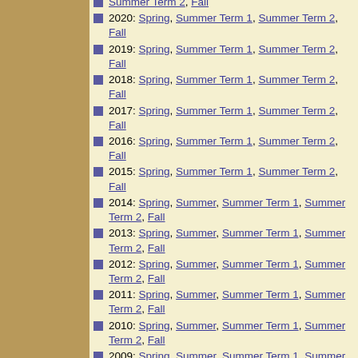Summer Term 2, Fall
2020: Spring, Summer Term 1, Summer Term 2, Fall
2019: Spring, Summer Term 1, Summer Term 2, Fall
2018: Spring, Summer Term 1, Summer Term 2, Fall
2017: Spring, Summer Term 1, Summer Term 2, Fall
2016: Spring, Summer Term 1, Summer Term 2, Fall
2015: Spring, Summer Term 1, Summer Term 2, Fall
2014: Spring, Summer, Summer Term 1, Summer Term 2, Fall
2013: Spring, Summer, Summer Term 1, Summer Term 2, Fall
2012: Spring, Summer, Summer Term 1, Summer Term 2, Fall
2011: Spring, Summer, Summer Term 1, Summer Term 2, Fall
2010: Spring, Summer, Summer Term 1, Summer Term 2, Fall
2009: Spring, Summer, Summer Term 1, Summer Term 2, Fall
2008: Spring, Summer, Summer Term 1, Summer Term 2, Fall
2007: Spring, Summer, Summer Term...